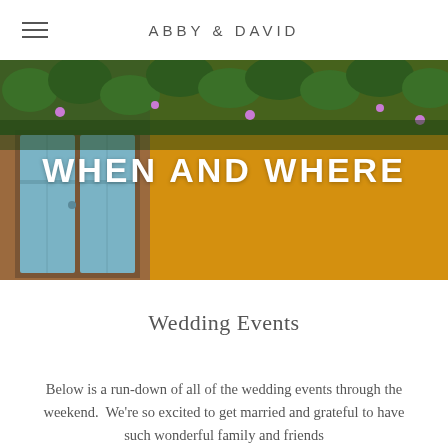ABBY & DAVID
[Figure (photo): A colorful outdoor scene with a yellow wall covered in green vines and purple flowers, with weathered blue-painted double doors on the left side.]
WHEN AND WHERE
Wedding Events
Below is a run-down of all of the wedding events through the weekend.  We're so excited to get married and grateful to have such wonderful family and friends